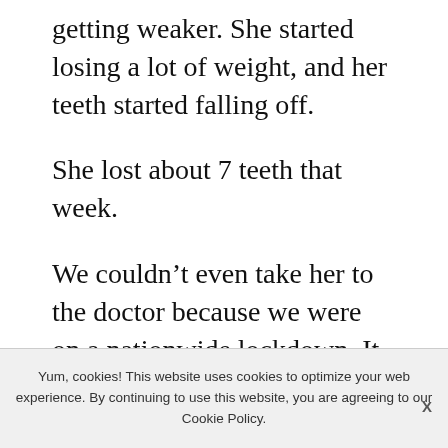getting weaker. She started losing a lot of weight, and her teeth started falling off.
She lost about 7 teeth that week.
We couldn't even take her to the doctor because we were on a nationwide lockdown. It was in the middle of the pandemic that this happened
Yum, cookies! This website uses cookies to optimize your web experience. By continuing to use this website, you are agreeing to our Cookie Policy.